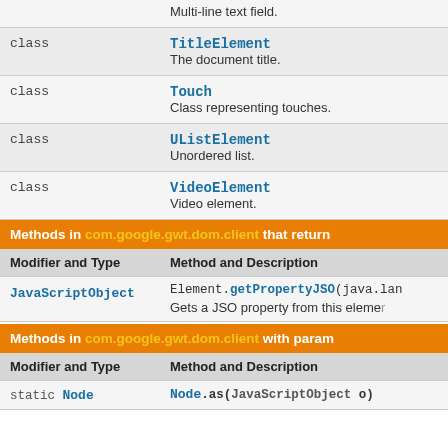|  |  |
| --- | --- |
| class | TitleElement
The document title. |
| class | Touch
Class representing touches. |
| class | UListElement
Unordered list. |
| class | VideoElement
Video element. |
Methods in com.google.gwt.dom.client that return
| Modifier and Type | Method and Description |
| --- | --- |
| JavaScriptObject | Element.getPropertyJSO(java.lang...
Gets a JSO property from this elemer... |
Methods in com.google.gwt.dom.client with param
| Modifier and Type | Method and Description |
| --- | --- |
| static Node | Node.as(JavaScriptObject o) |